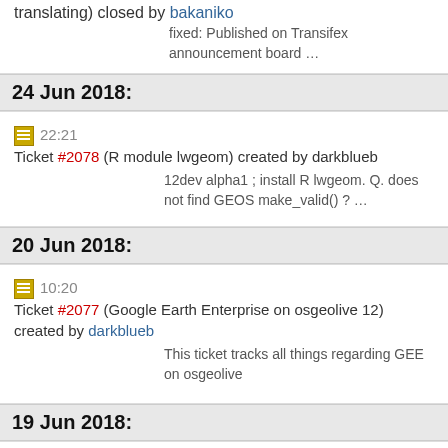translating) closed by bakaniko
fixed: Published on Transifex announcement board …
24 Jun 2018:
22:21 Ticket #2078 (R module lwgeom) created by darkblueb
12dev alpha1 ; install R lwgeom. Q. does not find GEOS make_valid() ? …
20 Jun 2018:
10:20 Ticket #2077 (Google Earth Enterprise on osgeolive 12) created by darkblueb
This ticket tracks all things regarding GEE on osgeolive
19 Jun 2018:
23:05 Ticket #2076 (send project reminder to all projects